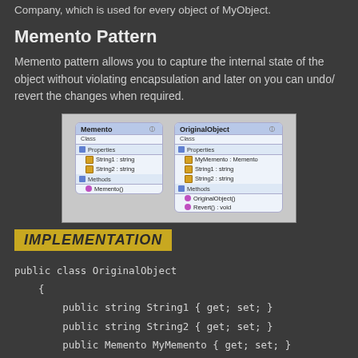Company, which is used for every object of MyObject.
Memento Pattern
Memento pattern allows you to capture the internal state of the object without violating encapsulation and later on you can undo/ revert the changes when required.
[Figure (engineering-diagram): UML class diagram showing two classes: Memento (with Properties: String1:string, String2:string; Methods: Memento()) and OriginalObject (with Properties: MyMemento:Memento, String1:string, String2:string; Methods: OriginalObject(), Revert():void)]
IMPLEMENTATION
public class OriginalObject
    {
        public string String1 { get; set; }
        public string String2 { get; set; }
        public Memento MyMemento { get; set; }